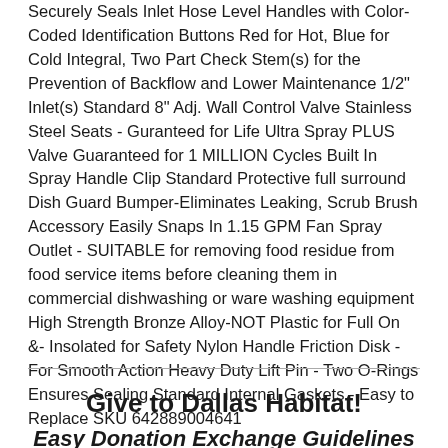Securely Seals Inlet Hose Level Handles with Color-Coded Identification Buttons Red for Hot, Blue for Cold Integral, Two Part Check Stem(s) for the Prevention of Backflow and Lower Maintenance 1/2" Inlet(s) Standard 8" Adj. Wall Control Valve Stainless Steel Seats - Guranteed for Life Ultra Spray PLUS Valve Guaranteed for 1 MILLION Cycles Built In Spray Handle Clip Standard Protective full surround Dish Guard Bumper-Eliminates Leaking, Scrub Brush Accessory Easily Snaps In 1.15 GPM Fan Spray Outlet - SUITABLE for removing food residue from food service items before cleaning them in commercial dishwashing or ware washing equipment High Strength Bronze Alloy-NOT Plastic for Full On &- Insolated for Safety Nylon Handle Friction Disk - For Smooth Action Heavy Duty Lift Pin - Two O-Rings Ensures Sealing Standard Internal Gaskets - Easy to Replace SKU 642889004641
Give to Dallas Habitat!
Easy Donation Exchange Guidelines